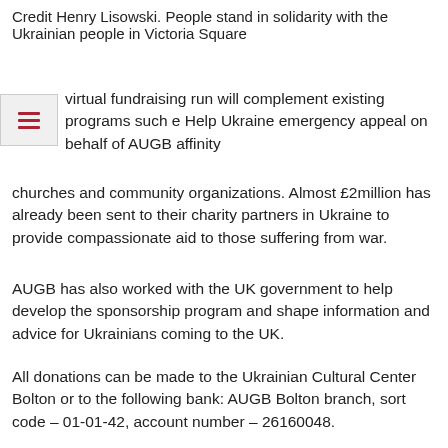Credit Henry Lisowski. People stand in solidarity with the Ukrainian people in Victoria Square
virtual fundraising run will complement existing programs such e Help Ukraine emergency appeal on behalf of AUGB affinity churches and community organizations. Almost £2million has already been sent to their charity partners in Ukraine to provide compassionate aid to those suffering from war.
AUGB has also worked with the UK government to help develop the sponsorship program and shape information and advice for Ukrainians coming to the UK.
All donations can be made to the Ukrainian Cultural Center Bolton or to the following bank: AUGB Bolton branch, sort code – 01-01-42, account number – 26160048.